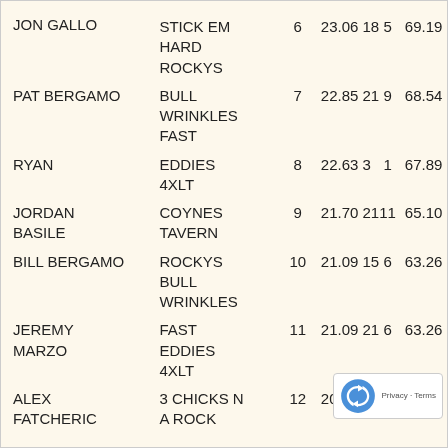| Name | Team | Rank | Score | Num | Pts |
| --- | --- | --- | --- | --- | --- |
| JON GALLO | STICK EM HARD ROCKYS | 6 | 23.06 | 18 | 5 | 69.19 |
| PAT BERGAMO | BULL WRINKLES FAST | 7 | 22.85 | 21 | 9 | 68.54 |
| RYAN | EDDIES 4XLT | 8 | 22.63 | 3 | 1 | 67.89 |
| JORDAN BASILE | COYNES TAVERN | 9 | 21.70 | 21 | 11 | 65.10 |
| BILL BERGAMO | ROCKYS BULL WRINKLES FAST | 10 | 21.09 | 15 | 6 | 63.26 |
| JEREMY MARZO | EDDIES 4XLT | 11 | 21.09 | 21 | 6 | 63.26 |
| ALEX FATCHERIC | 3 CHICKS N A ROCK | 12 | 20.77 | 20 | 8 | 62.30 |